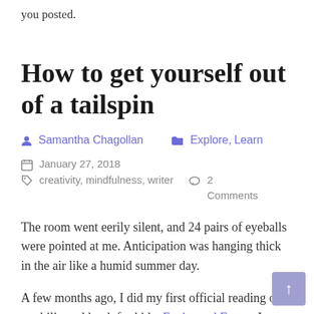you posted.
How to get yourself out of a tailspin
Samantha Chagollan   Explore, Learn
January 27, 2018   creativity, mindfulness, writer   2 Comments
The room went eerily silent, and 24 pairs of eyeballs were pointed at me. Anticipation was hanging thick in the air like a humid summer day.
A few months ago, I did my first official reading of my bilingual book for kids, Enchanted Forest. I was delighted to